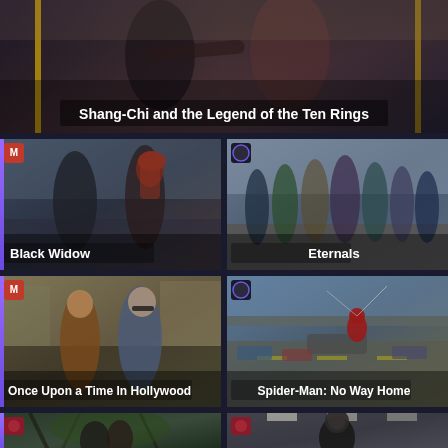[Figure (photo): Movie still from Shang-Chi and the Legend of the Ten Rings showing action scene on a bus]
Shang-Chi and the Legend of the Ten Rings
[Figure (photo): Movie still from Black Widow showing characters in action]
Black Widow
[Figure (photo): Movie still from Eternals showing group of superheroes]
Eternals
[Figure (photo): Movie still from Once Upon a Time In Hollywood showing two men standing]
Once Upon a Time In Hollywood
[Figure (photo): Movie still from Spider-Man: No Way Home showing Spider-Man on top of a vehicle on a highway]
Spider-Man: No Way Home
[Figure (photo): Movie still from a film showing two people near trees (partially visible)]
[Figure (photo): Movie still from a film showing a figure in armor in a corridor (partially visible)]